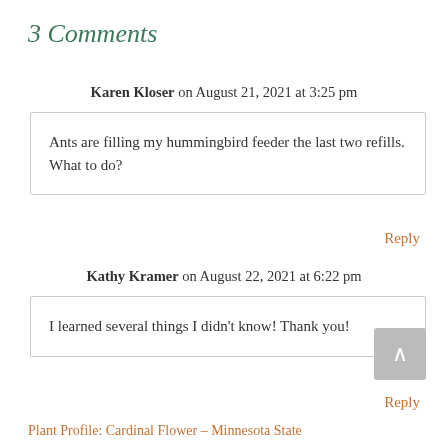3 Comments
Karen Kloser on August 21, 2021 at 3:25 pm
Ants are filling my hummingbird feeder the last two refills. What to do?
Reply
Kathy Kramer on August 22, 2021 at 6:22 pm
I learned several things I didn't know! Thank you!
Reply
Plant Profile: Cardinal Flower – Minnesota State